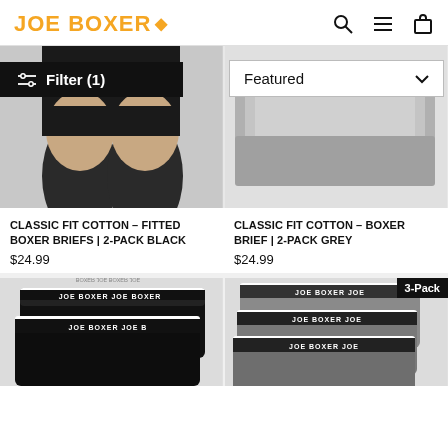JOE BOXER
[Figure (photo): Black boxer briefs worn by a model, lower body visible, with Filter (1) overlay button]
[Figure (photo): Grey boxer briefs folded/stacked product shot with Featured dropdown overlay]
CLASSIC FIT COTTON – FITTED BOXER BRIEFS | 2-PACK BLACK
$24.99
CLASSIC FIT COTTON – BOXER BRIEF | 2-PACK GREY
$24.99
[Figure (photo): Black Joe Boxer branded boxer briefs 2-pack showing waistbands]
[Figure (photo): Grey Joe Boxer branded boxer briefs 3-pack showing waistbands, with 3-Pack badge]